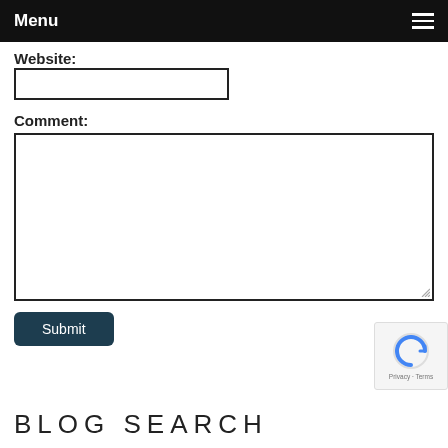Menu
Website:
Comment:
Submit
BLOG SEARCH